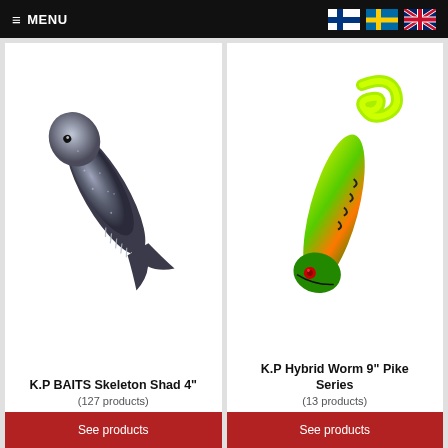≡ MENU
[Figure (photo): K.P BAITS Skeleton Shad 4 inch fishing lure - dark/silver color with ribbed body]
K.P BAITS Skeleton Shad 4"
(127 products)
See products
[Figure (photo): K.P Hybrid Worm 9 inch Pike Series fishing lure - bright green/yellow/orange color with curly tail]
K.P Hybrid Worm 9" Pike Series
(13 products)
See products